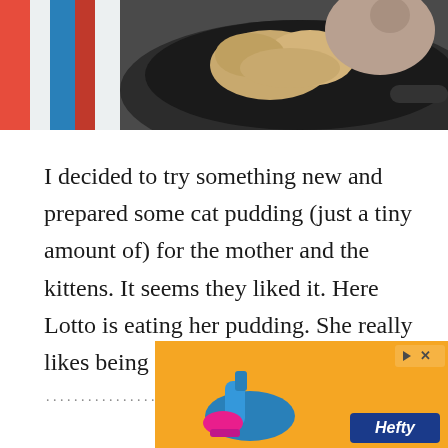[Figure (photo): A cat eating food from a dark pan/skillet, with a colorful striped cloth visible in the background. The image is cropped at the top of the page.]
I decided to try something new and prepared some cat pudding (just a tiny amount of) for the mother and the kittens. It seems they liked it. Here Lotto is eating her pudding. She really likes being served!
[Figure (advertisement): A Hefty brand advertisement with an orange background, showing a Hefty product with a blue cleaning brush/vacuum device. Includes a play/skip button icon and the Hefty logo in the bottom right corner.]